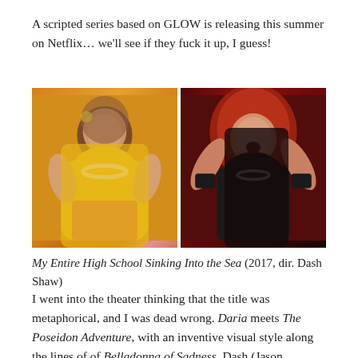A scripted series based on GLOW is releasing this summer on Netflix… we'll see if they fuck it up, I guess!
[Figure (photo): Two side-by-side photos of women wrestlers from GLOW: left photo shows a heavyset woman in a yellow tropical outfit with a lei necklace against an orange background; right photo shows a heavyset woman with big red hair in a black wrestling costume performing on stage.]
My Entire High School Sinking Into the Sea (2017, dir. Dash Shaw)
I went into the theater thinking that the title was metaphorical, and I was dead wrong. Daria meets The Poseidon Adventure, with an inventive visual style along the lines of of Belladonna of Sadness. Dash (Jason Schwartzman), our protagonist, is a self-centered